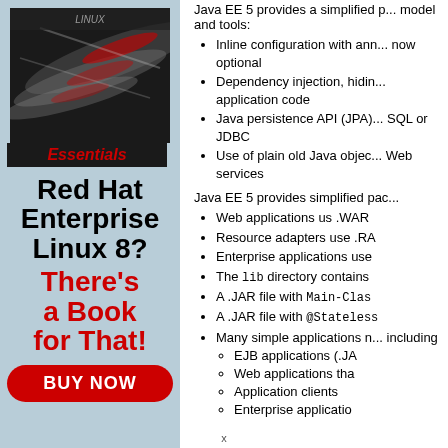[Figure (illustration): Advertisement panel for a Red Hat Enterprise Linux 8 book with book cover image showing 'Essentials' label and a buy now button on a light blue background]
Java EE 5 provides a simplified programming model and tools:
Inline configuration with annotations, making XML now optional
Dependency injection, hiding resource lookups from application code
Java persistence API (JPA), no need to write SQL or JDBC
Use of plain old Java objects (POJOs) for Web services
Java EE 5 provides simplified packaging:
Web applications us .WAR
Resource adapters use .RA
Enterprise applications use
The lib directory contains
A .JAR file with Main-Class
A .JAR file with @Stateless
Many simple applications n... including
EJB applications (.JA
Web applications tha
Application clients
Enterprise applicatio